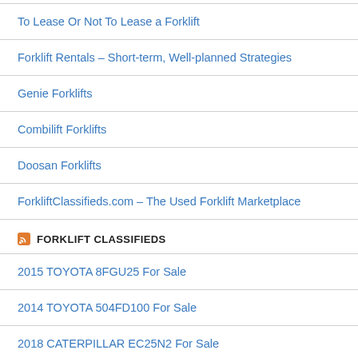To Lease Or Not To Lease a Forklift
Forklift Rentals – Short-term, Well-planned Strategies
Genie Forklifts
Combilift Forklifts
Doosan Forklifts
ForkliftClassifieds.com – The Used Forklift Marketplace
FORKLIFT CLASSIFIEDS
2015 TOYOTA 8FGU25 For Sale
2014 TOYOTA 504FD100 For Sale
2018 CATERPILLAR EC25N2 For Sale